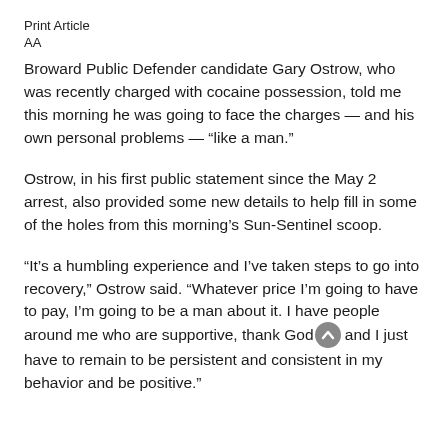Print Article
AA
Broward Public Defender candidate Gary Ostrow, who was recently charged with cocaine possession, told me this morning he was going to face the charges — and his own personal problems — "like a man."
Ostrow, in his first public statement since the May 2 arrest, also provided some new details to help fill in some of the holes from this morning's Sun-Sentinel scoop.
"It's a humbling experience and I've taken steps to go into recovery," Ostrow said. "Whatever price I'm going to have to pay, I'm going to be a man about it. I have people around me who are supportive, thank God, and I just have to remain to be persistent and consistent in my behavior and be positive."